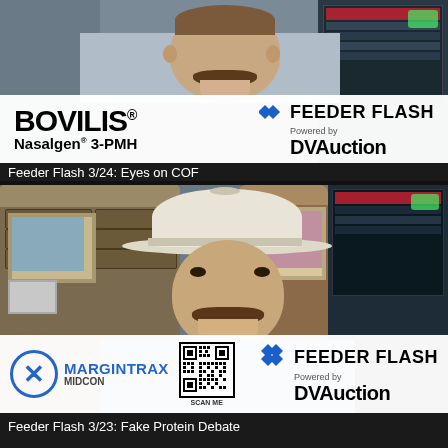[Figure (screenshot): Video thumbnail showing a man with a mustache in a plaid shirt. Bottom overlay shows BOVILIS Nasalgen 3-PMH logo on left and Feeder Flash Powered by DVAuction logo on right.]
Feeder Flash 3/24: Eyes on COF
[Figure (screenshot): Video thumbnail showing a man with a mustache wearing a white cowboy hat and plaid shirt. Bottom overlay shows MarginTrax MIDCON logo with X circle and QR code on left, and Feeder Flash Powered by DVAuction logo on right.]
Feeder Flash 3/23: Fake Protein Debate